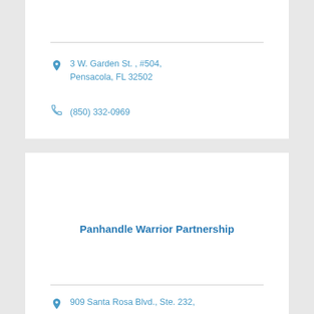3 W. Garden St. , #504, Pensacola, FL 32502
(850) 332-0969
Panhandle Warrior Partnership
909 Santa Rosa Blvd., Ste. 232,